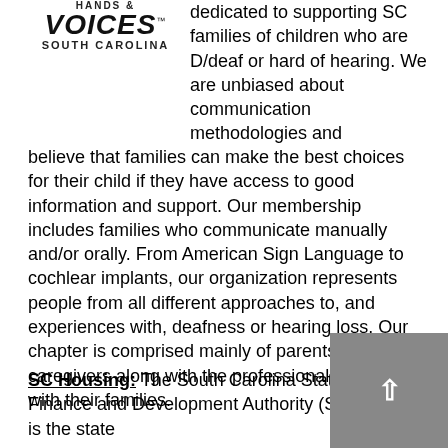[Figure (logo): Hands & Voices South Carolina logo with stylized text]
dedicated to supporting SC families of children who are D/deaf or hard of hearing. We are unbiased about communication methodologies and believe that families can make the best choices for their child if they have access to good information and support. Our membership includes families who communicate manually and/or orally. From American Sign Language to cochlear implants, our organization represents people from all different approaches to, and experiences with, deafness or hearing loss. Our chapter is comprised mainly of parents and caregivers along with the professionals who work with their families.
SC Housing: The South Carolina State Housing Finance and Development Authority (SC Housing) is the state